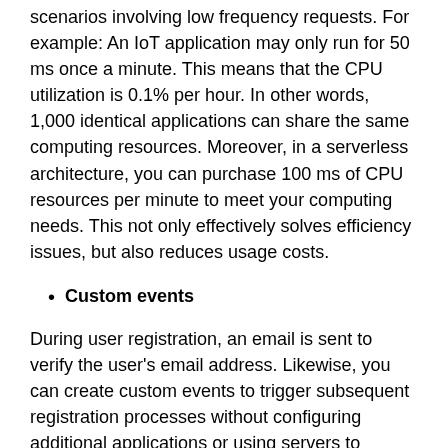scenarios involving low frequency requests. For example: An IoT application may only run for 50 ms once a minute. This means that the CPU utilization is 0.1% per hour. In other words, 1,000 identical applications can share the same computing resources. Moreover, in a serverless architecture, you can purchase 100 ms of CPU resources per minute to meet your computing needs. This not only effectively solves efficiency issues, but also reduces usage costs.
Custom events
During user registration, an email is sent to verify the user's email address. Likewise, you can create custom events to trigger subsequent registration processes without configuring additional applications or using servers to process subsequent requests.
Fixed time triggers